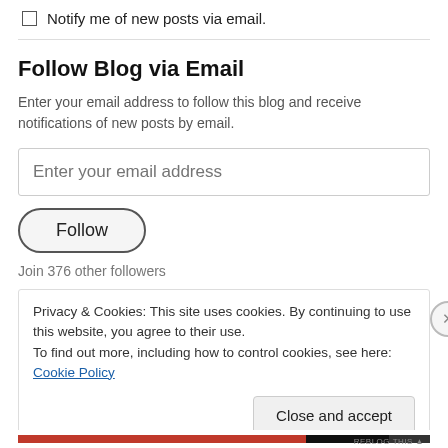Notify me of new posts via email.
Follow Blog via Email
Enter your email address to follow this blog and receive notifications of new posts by email.
Enter your email address
Follow
Join 376 other followers
Privacy & Cookies: This site uses cookies. By continuing to use this website, you agree to their use.
To find out more, including how to control cookies, see here: Cookie Policy
Close and accept